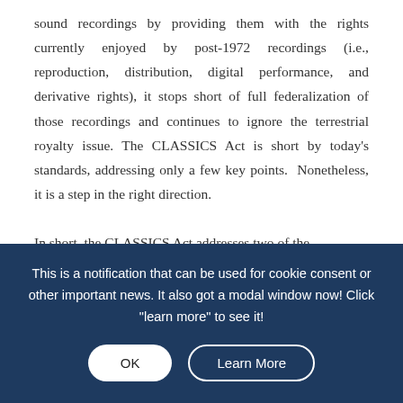sound recordings by providing them with the rights currently enjoyed by post-1972 recordings (i.e., reproduction, distribution, digital performance, and derivative rights), it stops short of full federalization of those recordings and continues to ignore the terrestrial royalty issue. The CLASSICS Act is short by today's standards, addressing only a few key points. Nonetheless, it is a step in the right direction.

In short, the CLASSICS Act addresses two of the
This is a notification that can be used for cookie consent or other important news. It also got a modal window now! Click "learn more" to see it!